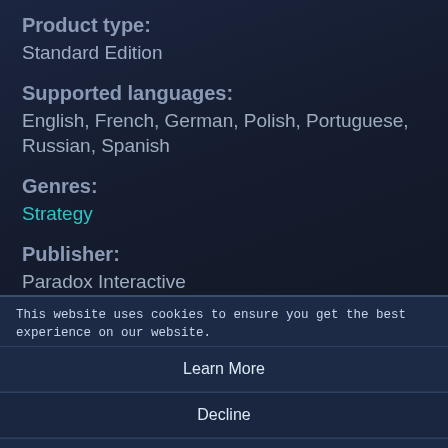Product type:
Standard Edition
Supported languages:
English, French, German, Polish, Portuguese, Russian, Spanish
Genres:
Strategy
Publisher:
Paradox Interactive
Developer:
Paradox Development Studio
[Figure (screenshot): Cookie consent overlay with message 'This website uses cookies to ensure you get the best experience on our website.' and three buttons: Learn More, Decline, Allow All]